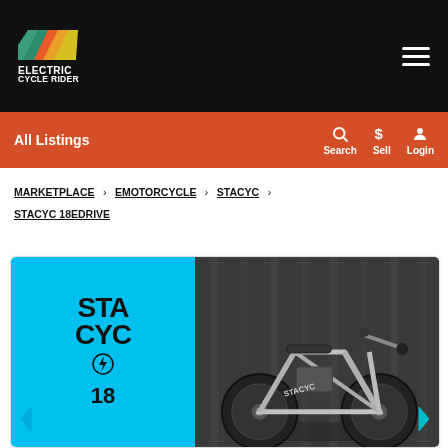ELECTRIC CYCLE RIDER
All Listings | Search | Sell | Login
MARKETPLACE › EMOTORCYCLE › STACYC › STACYC 18EDRIVE
[Figure (photo): Product listing card showing STACYC 18EDRIVE electric motorcycle. Left panel: cyan blue background with STACYC logo text in black block letters. Right panel: dark photo of a black STACYC electric motorcycle/balance bike against a grey curtain backdrop. Left/right navigation arrows visible at bottom edges.]